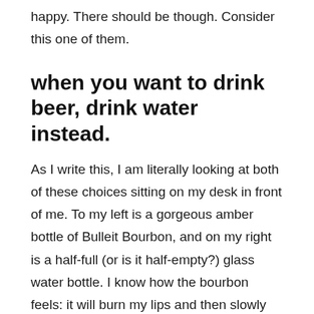happy. There should be though. Consider this one of them.
when you want to drink beer, drink water instead.
As I write this, I am literally looking at both of these choices sitting on my desk in front of me. To my left is a gorgeous amber bottle of Bulleit Bourbon, and on my right is a half-full (or is it half-empty?) glass water bottle. I know how the bourbon feels: it will burn my lips and then slowly warm my belly and spread out inside me until I feel soft and light. Water tastes boring and makes me want to pee.